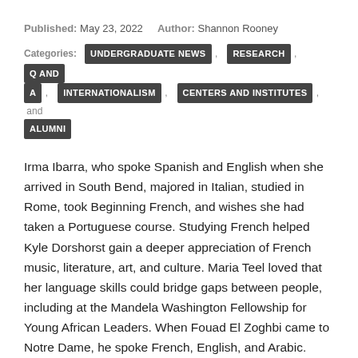Published: May 23, 2022   Author: Shannon Rooney
Categories: UNDERGRADUATE NEWS , RESEARCH , Q AND A , INTERNATIONALISM , CENTERS AND INSTITUTES , and ALUMNI
Irma Ibarra, who spoke Spanish and English when she arrived in South Bend, majored in Italian, studied in Rome, took Beginning French, and wishes she had taken a Portuguese course. Studying French helped Kyle Dorshorst gain a deeper appreciation of French music, literature, art, and culture. Maria Teel loved that her language skills could bridge gaps between people, including at the Mandela Washington Fellowship for Young African Leaders. When Fouad El Zoghbi came to Notre Dame, he spoke French, English, and Arabic. Then he studied Spanish. Learning a new language, he said, expands your mind in unimaginable ways.